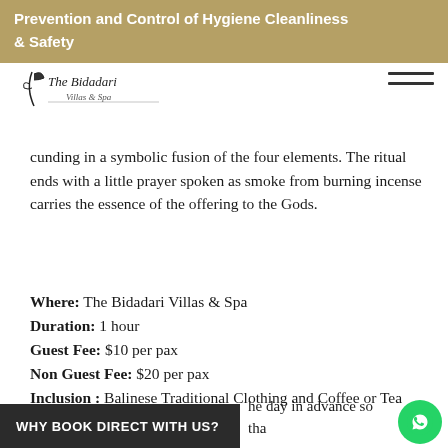Prevention and Control of Hygiene Cleanliness & Safety
[Figure (logo): The Bidadari Villas & Spa logo with stylized bird figure and serif text]
cunding in a symbolic fusion of the four elements. The ritual ends with a little prayer spoken as smoke from burning incense carries the essence of the offering to the Gods.
Where: The Bidadari Villas & Spa
Duration: 1 hour
Guest Fee: $10 per pax
Non Guest Fee: $20 per pax
Inclusion : Balinese Traditional Clothing and Coffee or Tea
he day in advance so that the necessary items